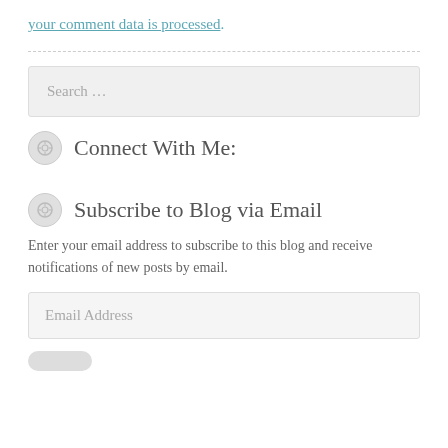your comment data is processed.
Connect With Me:
Subscribe to Blog via Email
Enter your email address to subscribe to this blog and receive notifications of new posts by email.
Email Address